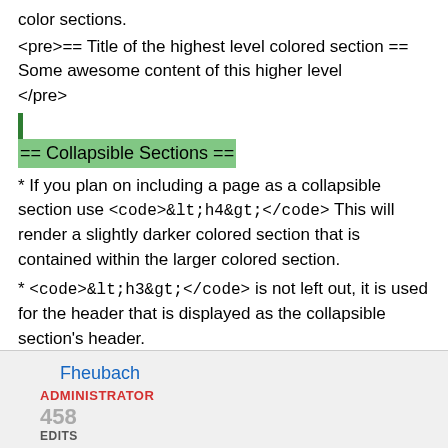color sections.
<pre>== Title of the highest level colored section ==
Some awesome content of this higher level
</pre>
== Collapsible Sections ==
* If you plan on including a page as a collapsible section use <code>&lt;h4&gt;</code> This will render a slightly darker colored section that is contained within the larger colored section.
* <code>&lt;h3&gt;</code> is not left out, it is used for the header that is displayed as the collapsible section's header.
== Related links at the end of the page ==
Fheubach
ADMINISTRATOR
458
EDITS